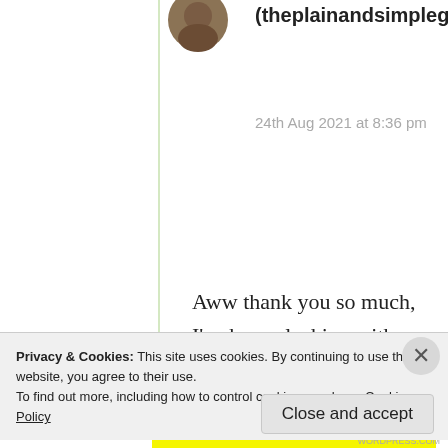(theplainandsimpleguy)
24th Aug 2021 at 8:36 pm
Aww thank you so much, I've been slacking with blogs the past few weeks, life has been a bit mental, but I'll get back into the rhythm soon enough haha
Privacy & Cookies: This site uses cookies. By continuing to use this website, you agree to their use.
To find out more, including how to control cookies, see here: Cookie Policy
Close and accept